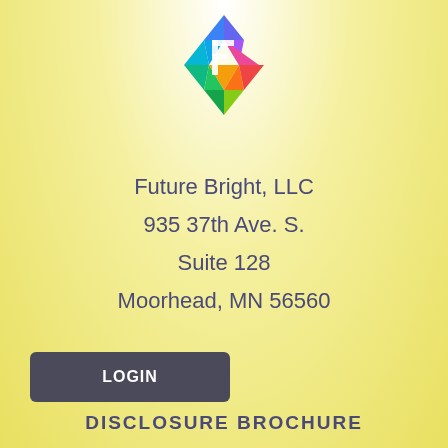[Figure (logo): Colorful diamond/rhombus logo with multicolored triangular facets and a white F-shaped letter inside, belonging to Future Bright LLC]
Future Bright, LLC
935 37th Ave. S.
Suite 128
Moorhead, MN 56560
LOGIN
DISCLOSURE BROCHURE